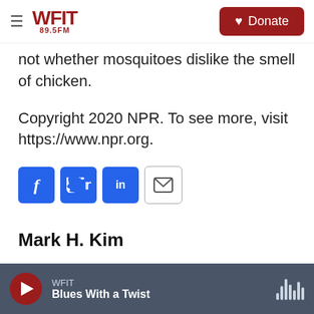WFIT 89.5FM | Donate
not whether mosquitoes dislike the smell of chicken.
Copyright 2020 NPR. To see more, visit https://www.npr.org.
[Figure (infographic): Social media share buttons: Facebook (f), Twitter (bird), LinkedIn (in), Email (envelope)]
Mark H. Kim
WFIT | Blues With a Twist